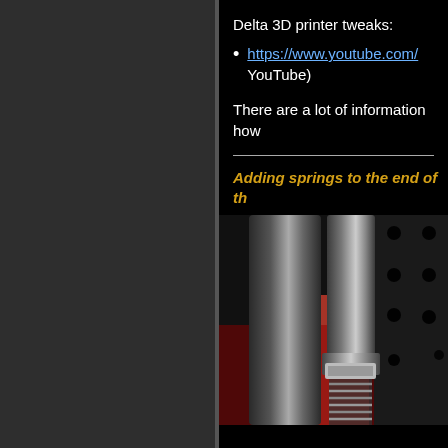Delta 3D printer tweaks:
https://www.youtube.com/ … YouTube)
There are a lot of information how …
Adding springs to the end of th…
[Figure (photo): Close-up photo of a delta 3D printer rod/spring mechanism showing a metal rod with a spring and nut at the end, against a dark background with a perforated metal plate visible on the right side.]